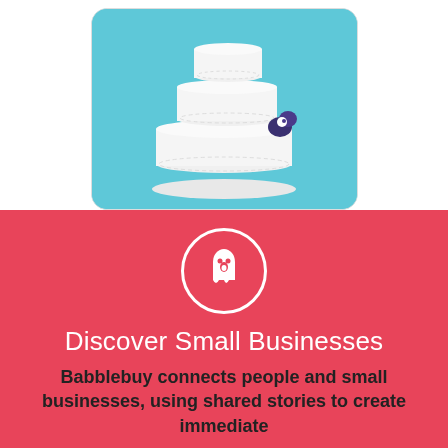[Figure (photo): A three-tiered white wedding cake with a dark flower decoration, set against a cyan/turquoise blue background, displayed inside a rounded rectangle frame.]
[Figure (infographic): Pink/coral background section with a white circle icon containing a ghost-like figure with the number 8, followed by the title 'Discover Small Businesses' and body text about Babblebuy connecting people and small businesses.]
Discover Small Businesses
Babblebuy connects people and small businesses, using shared stories to create immediate